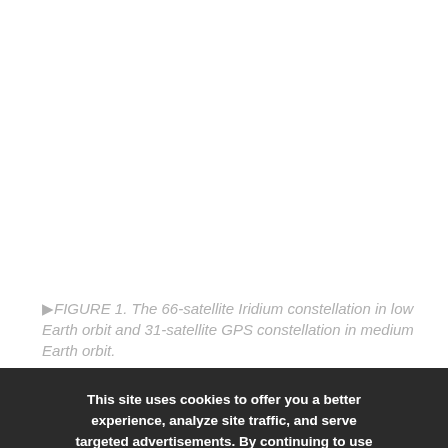[Figure (illustration): Image area showing the 66-satellite Iridium constellation in low Earth orbit and 31-satellite GPS constellation in medium Earth orbit (image content not visible in this crop).]
▶FIGURE 1. The 66-satellite Iridium constellation in low Earth orbit and 31-satellite GPS constellation in medium Earth orbit.
LEO-based PNT is now mainstream, in the form of real-time signals that have been delivered over the
This site uses cookies to offer you a better experience, analyze site traffic, and serve targeted advertisements. By continuing to use this website, you consent to the use of cookies in accordance with our privacy policy.
CLOSE